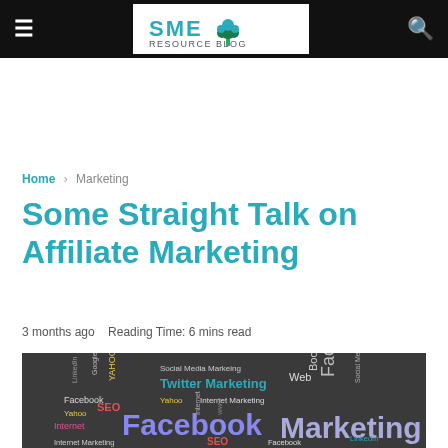SME RESOURCE BLOG
Home › Marketing
Some Straight Talk on Affiliate Marketing
3 months ago   Reading Time: 6 mins read
[Figure (photo): Word cloud / chalkboard image featuring social media and internet marketing terms: Social Media Marketing, Twitter Marketing, Facebook, SEO, Yahoo, Internet, Internet Marketing, Google, LinkedIn, Web, and more in various colors on a dark chalkboard background.]